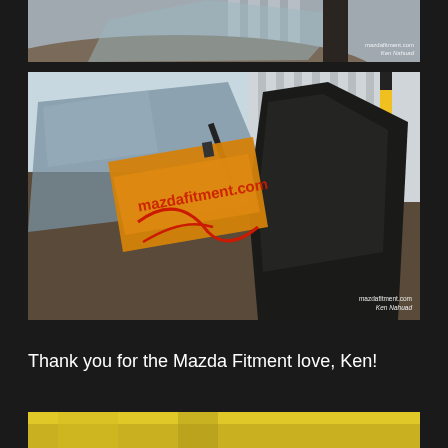[Figure (photo): Partial view of a car — top strip photo showing car body and windshield area with mazdafitment.com watermark]
[Figure (photo): Close-up photo of a Mazda car windshield with an orange mazdafitment.com sticker/card placed on the glass, showing the wiper arm and car door frame. Watermark reads mazdafitment.com Ken Nahuad]
Thank you for the Mazda Fitment love, Ken!
[Figure (photo): Bottom strip photo showing a yellow car part or vehicle at the bottom of the page]